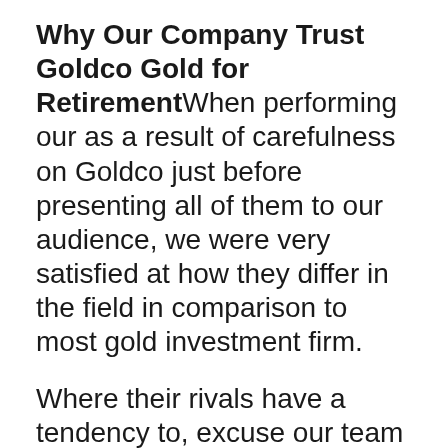Why Our Company Trust Goldco Gold for Retirement
When performing our as a result of carefulness on Goldco just before presenting all of them to our audience, we were very satisfied at how they differ in the field in comparison to most gold investment firm.
Where their rivals have a tendency to, excuse our team for saying so, push certain expenditures down their potential customers' necks, Goldco on the other hand, as evidenced through their third-party Goldco assessment rely on profiles, present a sincere commitment to true customer care, patiently committing their opportunity and also experience to properly determine what their possibility's necessities are based upon